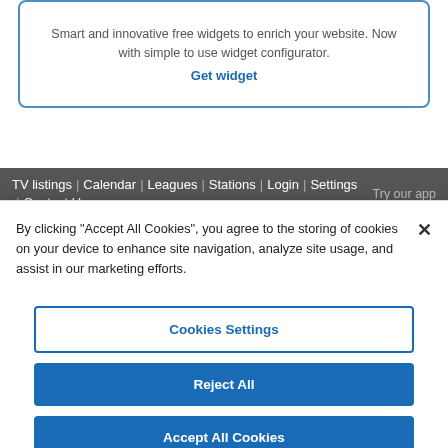Smart and innovative free widgets to enrich your website. Now with simple to use widget configurator.
Get widget
TV listings | Calendar | Leagues | Stations | Login | Settings | Contact Us
Try our app
By clicking “Accept All Cookies”, you agree to the storing of cookies on your device to enhance site navigation, analyze site usage, and assist in our marketing efforts.
Cookies Settings
Reject All
Accept All Cookies